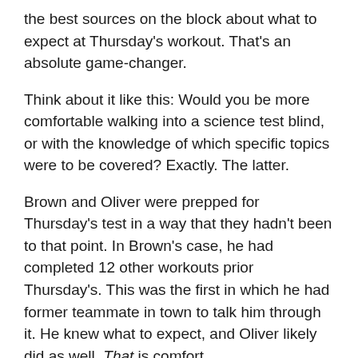the best sources on the block about what to expect at Thursday's workout. That's an absolute game-changer.
Think about it like this: Would you be more comfortable walking into a science test blind, or with the knowledge of which specific topics were to be covered? Exactly. The latter.
Brown and Oliver were prepped for Thursday's test in a way that they hadn't been to that point. In Brown's case, he had completed 12 other workouts prior Thursday's. This was the first in which he had former teammate in town to talk him through it. He knew what to expect, and Oliver likely did as well. That is comfort.
There have been 40-50 prospects who have made their way through Boston's doors over the past few weeks. Every one of them has gone through the same process. They're the horses at the traveling show, and everyone else in the gym makes up the panel of judges.